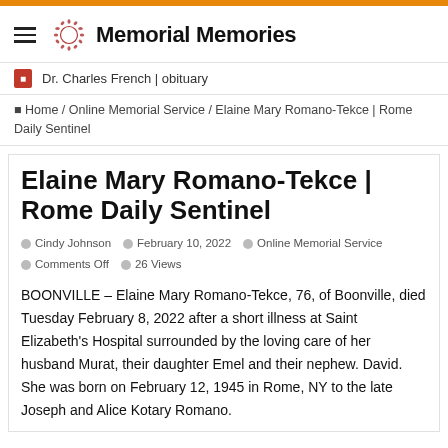Memorial Memories
Dr. Charles French | obituary
Home / Online Memorial Service / Elaine Mary Romano-Tekce | Rome Daily Sentinel
Elaine Mary Romano-Tekce | Rome Daily Sentinel
Cindy Johnson  February 10, 2022  Online Memorial Service  Comments Off  26 Views
BOONVILLE – Elaine Mary Romano-Tekce, 76, of Boonville, died Tuesday February 8, 2022 after a short illness at Saint Elizabeth's Hospital surrounded by the loving care of her husband Murat, their daughter Emel and their nephew. David. She was born on February 12, 1945 in Rome, NY to the late Joseph and Alice Kotary Romano.